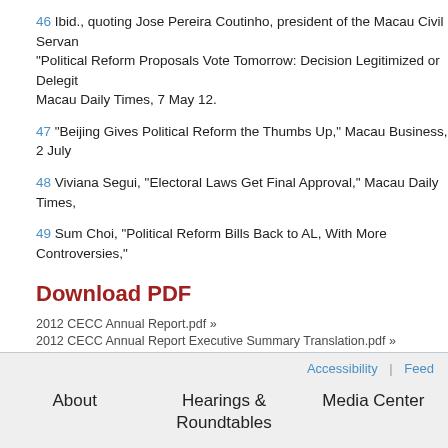46 Ibid., quoting Jose Pereira Coutinho, president of the Macau Civil Servan... "Political Reform Proposals Vote Tomorrow: Decision Legitimized or Delegit... Macau Daily Times, 7 May 12.
47 "Beijing Gives Political Reform the Thumbs Up," Macau Business, 2 July...
48 Viviana Segui, "Electoral Laws Get Final Approval," Macau Daily Times,...
49 Sum Choi, "Political Reform Bills Back to AL, With More Controversies,"...
Download PDF
2012 CECC Annual Report.pdf »
2012 CECC Annual Report Executive Summary Translation.pdf »
Accessibility | Feeds    About    Hearings & Roundtables    Media Center